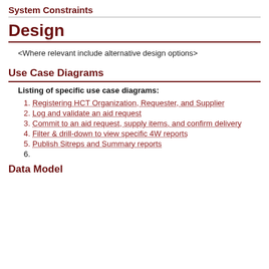System Constraints
Design
<Where relevant include alternative design options>
Use Case Diagrams
Listing of specific use case diagrams:
Registering HCT Organization, Requester, and Supplier
Log and validate an aid request
Commit to an aid request, supply items, and confirm delivery
Filter & drill-down to view specific 4W reports
Publish Sitreps and Summary reports
Data Model